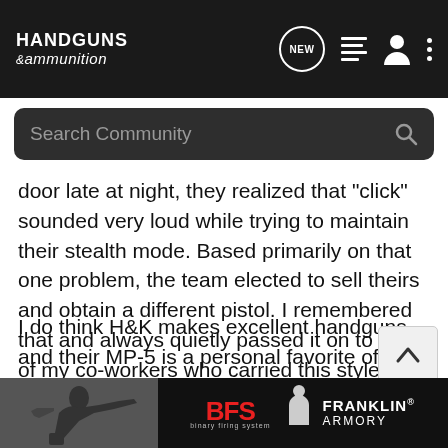HANDGUNS &ammunition
door late at night, they realized that "click" sounded very loud while trying to maintain their stealth mode. Based primarily on that one problem, the team elected to sell theirs and obtain a different pistol. I remembered that and always quietly passed it on to any of my co-workers who carried this style H&K pistol.
I do think H&K makes excellent handguns, and their MP-5 is a personal favorite of mine for a sub-gun. But candidly, among LEOs they have a reputation for being extremely slow when doing any needed factory repair on LEO weapons. I am not attempting to trash this pistol or the company in the least. I am simply providing what information I have on the pistol you asked about.
twoguns
[Figure (photo): Franklin Armory advertisement banner with BFS logo and person shooting a rifle]